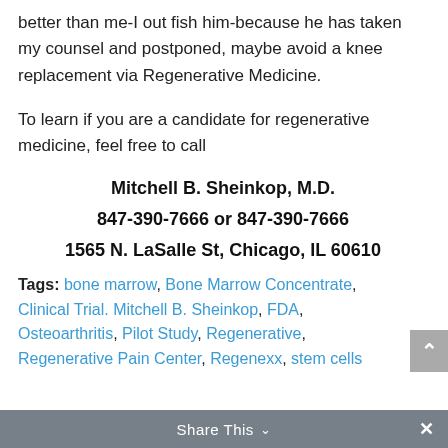better than me-I out fish him-because he has taken my counsel and postponed, maybe avoid a knee replacement via Regenerative Medicine.
To learn if you are a candidate for regenerative medicine, feel free to call
Mitchell B. Sheinkop, M.D.
847-390-7666 or 847-390-7666
1565 N. LaSalle St, Chicago, IL 60610
Tags: bone marrow, Bone Marrow Concentrate, Clinical Trial. Mitchell B. Sheinkop, FDA, Osteoarthritis, Pilot Study, Regenerative, Regenerative Pain Center, Regenexx, stem cells
Share This